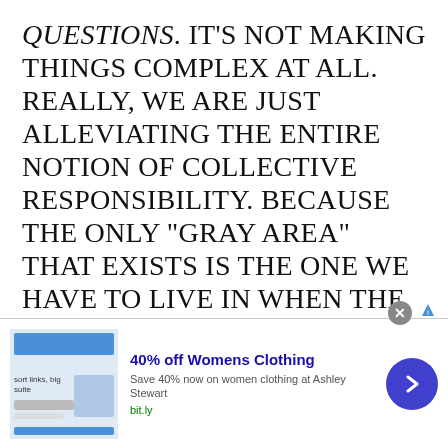QUESTIONS. IT'S NOT MAKING THINGS COMPLEX AT ALL. REALLY, WE ARE JUST ALLEVIATING THE ENTIRE NOTION OF COLLECTIVE RESPONSIBILITY. BECAUSE THE ONLY "GRAY AREA" THAT EXISTS IS THE ONE WE HAVE TO LIVE IN WHEN THE BLACK-AND-WHITE NATURE OF THE ACT ITSELF PUTS US IN A SPACE WHERE WE HAVE TO RECONCILE WHAT ACTUALLY WE'RE DOING. AND FOR THE LOVE OF ODIN, NO HULK DOESN'T WANT SOME AFTER SCHOOL LESSON OR HEAVY-
[Figure (other): Advertisement banner for '40% off Womens Clothing' from Ashley Stewart via bit.ly, with thumbnail image, close button, and navigation arrow]